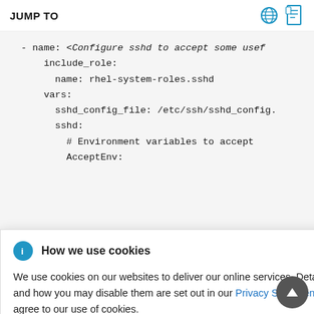JUMP TO
- name: <Configure sshd to accept some usef
    include_role:
      name: rhel-system-roles.sshd
    vars:
      sshd_config_file: /etc/ssh/sshd_config.
      sshd:
        # Environment variables to accept
        AcceptEnv:
How we use cookies
We use cookies on our websites to deliver our online services. Details about how we use cookies and how you may disable them are set out in our Privacy Statement. By using this website you agree to our use of cookies.
Use a two-digit prefix, for example 42- to